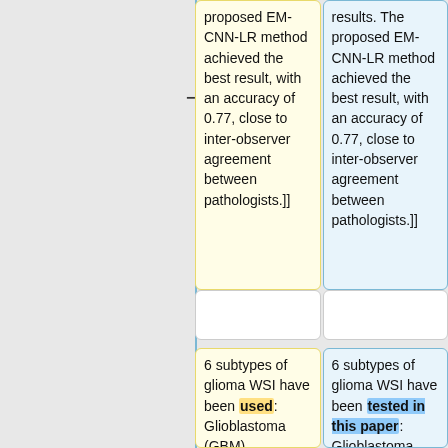proposed EM-CNN-LR method achieved the best result, with an accuracy of 0.77, close to inter-observer agreement between pathologists.]]
results. The proposed EM-CNN-LR method achieved the best result, with an accuracy of 0.77, close to inter-observer agreement between pathologists.]]
6 subtypes of glioma WSI have been used: Glioblastoma (GBM), Oligodendroglioma (OD), Oligoastrocytoma (OA), Diffuse
6 subtypes of glioma WSI have been tested in this paper: Glioblastoma (GBM), Oligodendroglioma (OD), Oligoastrocytom